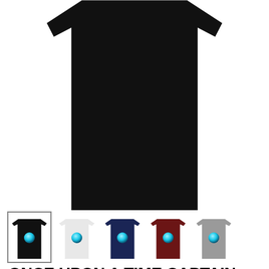[Figure (photo): Close-up of a black t-shirt product photo, cropped showing the upper torso/body of the shirt on white background]
[Figure (photo): Row of five t-shirt color variants: black (selected, with border), white, navy blue, dark red/maroon, and gray. Each shirt has a small circular pirate/Captain Hook graphic on the chest.]
ONCE UPON A TIME CAPTAIN HOOK KEEP THE PRINCE I_LL TAKE THE PIRATE T SHIRTS MEN AND WOMEN